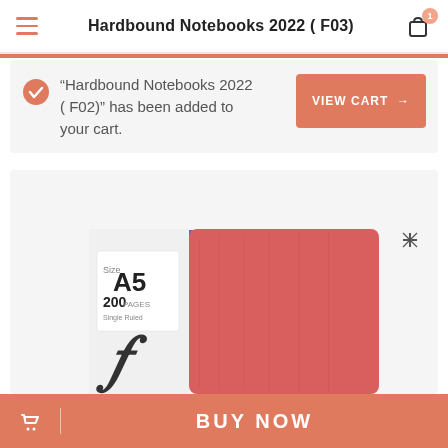Hardbound Notebooks 2022 ( F03)
"Hardbound Notebooks 2022 ( F02)" has been added to your cart.
[Figure (screenshot): E-commerce product page showing a red A5 hardbound notebook with '200 PAGES Single Ruled' label. Badges show '-68%' in purple and 'HOT' in green. Bottom bar has 'BUY NOW' button in salmon/coral color.]